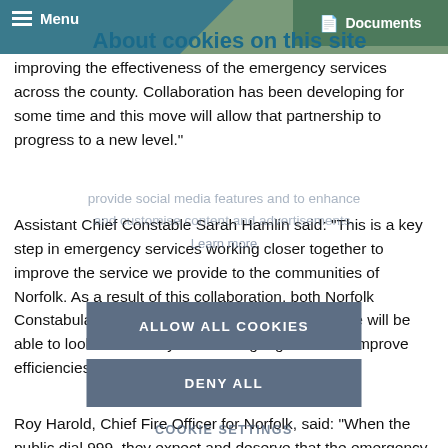Menu | About cookies on this site | Documents
improving the effectiveness of the emergency services across the county. Collaboration has been developing for some time and this move will allow that partnership to progress to a new level."
"provide social media features and to enhance and customise content and advertisements. Learn more
Assistant Chief Constable Sarah Hamlin said: "This is a key step in emergency services working closer together to improve the service we provide to the communities of Norfolk. As a result of this collaboration, both Norfolk Constabulary and Norfolk Fire and Rescue Service will be able to look at new ways of working together and improve efficiencies for both services in the future."
ALLOW ALL COOKIES
DENY ALL
COOKIE SETTINGS
Roy Harold, Chief Fire Officer for Norfolk, said: "When the public dial 999, they expect and deserve that the emergency services work together seamlessly to give them the best help and support we can. Blue light services already operate as a team, and basing our senior officers alongside each other will help make that teamwork even more effective."